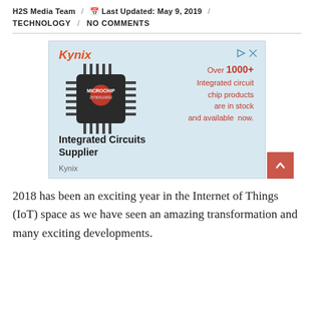H2S Media Team / Last Updated: May 9, 2019 / TECHNOLOGY / NO COMMENTS
[Figure (advertisement): Kynix advertisement banner showing a Microchip integrated circuit chip with text: 'Over 1000+ Integrated circuit chip products are in stock and available now.' and 'Integrated Circuits Supplier' with Kynix branding.]
2018 has been an exciting year in the Internet of Things (IoT) space as we have seen an amazing transformation and many exciting developments.